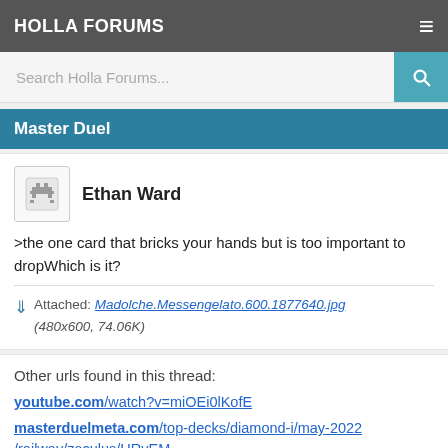HOLLA FORUMS
Search Holla Forums...
Master Duel
Ethan Ward
>the one card that bricks your hands but is too important to dropWhich is it?
Attached: Madolche.Messengelato.600.1877640.jpg (480x600, 74.06K)
Other urls found in this thread:
youtube.com/watch?v=miOEi0lKofE
masterduelmeta.com/top-decks/diamond-i/may-2022/railway/zaculus/HRvEM